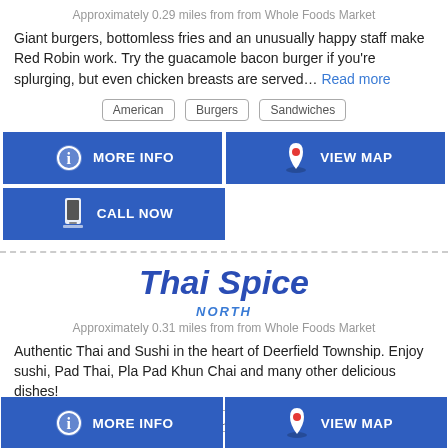Approximately 0.29 miles from from Whole Foods Market
Giant burgers, bottomless fries and an unusually happy staff make Red Robin work. Try the guacamole bacon burger if you're splurging, but even chicken breasts are served… Read more
American
Burgers
Sandwiches
MORE INFO
VIEW MAP
CALL NOW
Thai Spice
NORTH
Approximately 0.31 miles from from Whole Foods Market
Authentic Thai and Sushi in the heart of Deerfield Township. Enjoy sushi, Pad Thai, Pla Pad Khun Chai and many other delicious dishes!
Asian
Sushi
Thai
MORE INFO
VIEW MAP